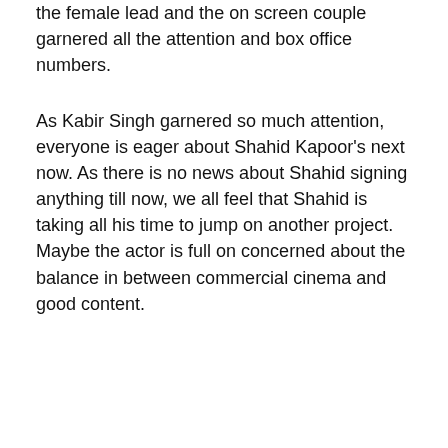the female lead and the on screen couple garnered all the attention and box office numbers.
As Kabir Singh garnered so much attention, everyone is eager about Shahid Kapoor’s next now. As there is no news about Shahid signing anything till now, we all feel that Shahid is taking all his time to jump on another project. Maybe the actor is full on concerned about the balance in between commercial cinema and good content.